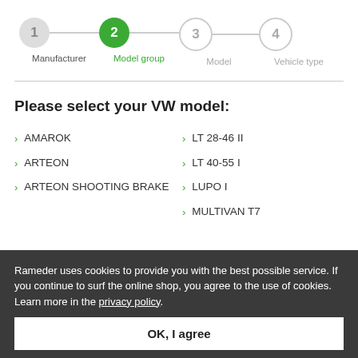[Figure (infographic): Step indicator with 4 steps: 1 (Manufacturer, inactive/grey), 2 (Model group, active/green), 3 (Model, outline/grey), 4 (Vehicle type, outline/grey)]
Please select your VW model:
AMAROK
LT 28-46 II
ARTEON
LT 40-55 I
ARTEON SHOOTING BRAKE
LUPO I
MULTIVAN T7
Rameder uses cookies to provide you with the best possible service. If you continue to surf the online shop, you agree to the use of cookies. Learn more in the privacy policy.
OK, I agree